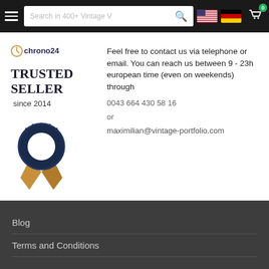Search in 400+ Vintage V [search bar] [US flag] [DE flag] [cart 0]
[Figure (logo): Chrono24 trusted seller badge with logo, text 'TRUSTED SELLER since 2014' and a navy/gold ribbon award badge illustration]
Feel free to contact us via telephone or email. You can reach us between 9 - 23h european time (even on weekends) through
0043 664 430 58 16
or
maximilian@vintage-portfolio.com
Blog
Terms and Conditions